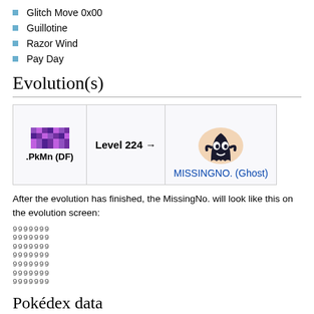Glitch Move 0x00
Guillotine
Razor Wind
Pay Day
Evolution(s)
| .PkMn (DF) | Level 224 → | MISSINGNO. (Ghost) |
| --- | --- | --- |
| .PkMn (DF) | Level 224 → | MISSINGNO. (Ghost) |
After the evolution has finished, the MissingNo. will look like this on the evolution screen:
9999999
9999999
9999999
9999999
9999999
9999999
9999999
Pokédex data
[Figure (screenshot): Pokédex data card showing glitch Pokémon sprite with pixelated icons]